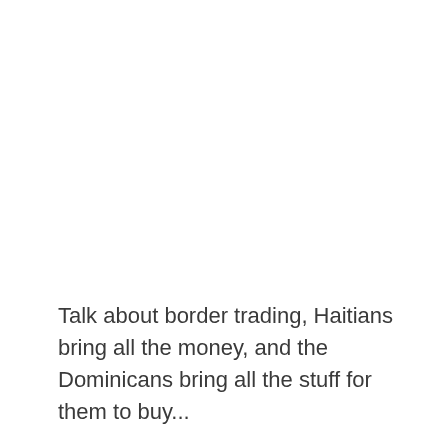Talk about border trading, Haitians bring all the money, and the Dominicans bring all the stuff for them to buy...
Tèt fè mal nèt al kole!!!